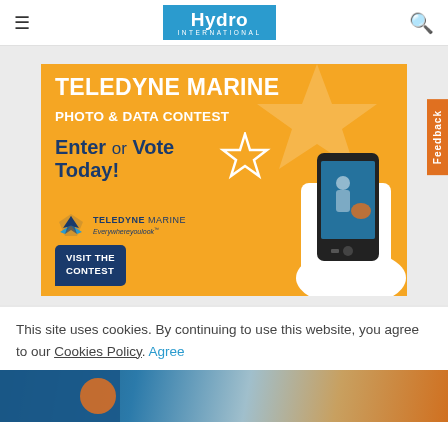Hydro International
[Figure (illustration): Teledyne Marine Photo & Data Contest advertisement banner. Orange background with text 'TELEDYNE MARINE PHOTO & DATA CONTEST Enter or Vote Today!' with Teledyne Marine logo, a hand holding a smartphone showing marine workers, a star graphic, and a 'VISIT THE CONTEST' speech bubble button.]
This site uses cookies. By continuing to use this website, you agree to our Cookies Policy. Agree
[Figure (photo): Bottom strip showing a partial photo of a person in blue clothing and an orange hard hat or buoy, marine/offshore setting.]